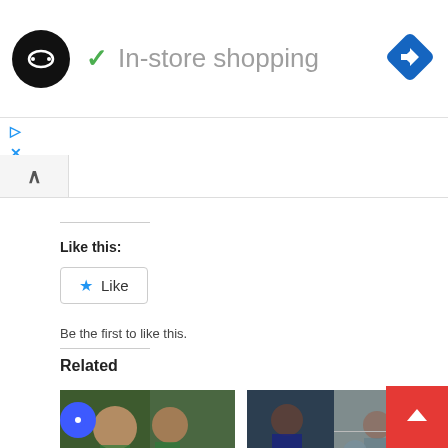[Figure (screenshot): Website screenshot showing in-store shopping feature with logo, checkmark label, navigation diamond icon, tab bar with caret, like widget, and related articles section with two photo cards.]
In-store shopping
Like this:
Like
Be the first to like this.
Related
Students Nurses Boldly Send A Message To President Akuffo-Addo
I'm Very Disappointed And Don't Want To See Anything NPP Again